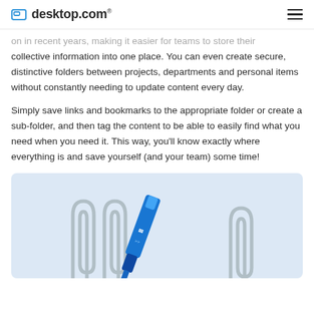desktop.com
on in recent years, making it easier for teams to store their collective information into one place. You can even create secure, distinctive folders between projects, departments and personal items without constantly needing to update content every day.
Simply save links and bookmarks to the appropriate folder or create a sub-folder, and then tag the content to be able to easily find what you need when you need it. This way, you'll know exactly where everything is and save yourself (and your team) some time!
[Figure (illustration): Light blue background illustration panel showing paper clips and a pen/marker icon, partially visible at the bottom of the page.]